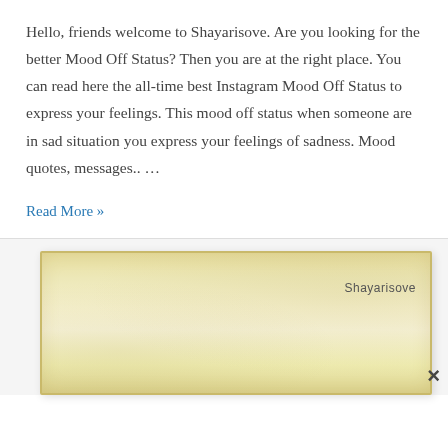Hello, friends welcome to Shayarisove. Are you looking for the better Mood Off Status? Then you are at the right place. You can read here the all-time best Instagram Mood Off Status to express your feelings. This mood off status when someone are in sad situation you express your feelings of sadness. Mood quotes, messages.. …
Read More »
[Figure (illustration): A parchment-textured banner image with aged yellowed paper appearance, with 'Shayarisove' label in the upper right and a close (×) button at the lower right.]